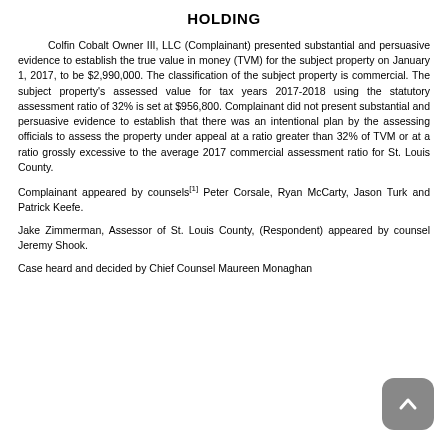HOLDING
Colfin Cobalt Owner III, LLC (Complainant) presented substantial and persuasive evidence to establish the true value in money (TVM) for the subject property on January 1, 2017, to be $2,990,000. The classification of the subject property is commercial. The subject property's assessed value for tax years 2017-2018 using the statutory assessment ratio of 32% is set at $956,800. Complainant did not present substantial and persuasive evidence to establish that there was an intentional plan by the assessing officials to assess the property under appeal at a ratio greater than 32% of TVM or at a ratio grossly excessive to the average 2017 commercial assessment ratio for St. Louis County.
Complainant appeared by counsels[1] Peter Corsale, Ryan McCarty, Jason Turk and Patrick Keefe.
Jake Zimmerman, Assessor of St. Louis County, (Respondent) appeared by counsel Jeremy Shook.
Case heard and decided by Chief Counsel Maureen Monaghan